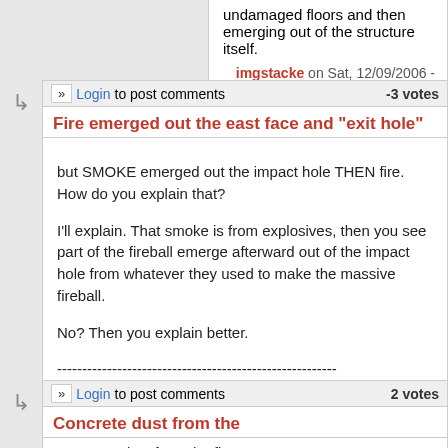undamaged floors and then emerging out of the structure itself.
imgstacke on Sat, 12/09/2006 - 12:50am.
Login to post comments   -3 votes
Fire emerged out the east face and "exit hole"
but SMOKE emerged out the impact hole THEN fire. How do you explain that?

I'll explain. That smoke is from explosives, then you see part of the fireball emerge afterward out of the impact hole from whatever they used to make the massive fireball.

No? Then you explain better.

--------------------------------------------------------

Focus on the botched crash scene at Shanksville.
Killtown on Sat, 12/09/2006 - 12:58am.
Login to post comments   2 votes
Concrete dust from the
Concrete dust from the floors -